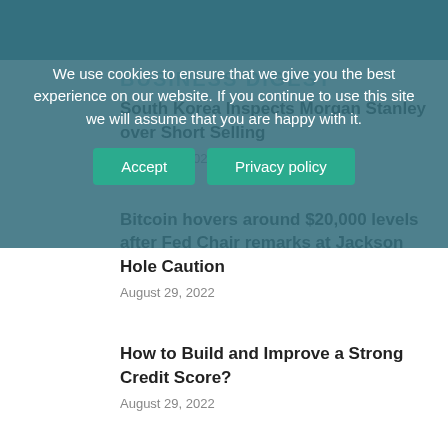We use cookies to ensure that we give you the best experience on our website. If you continue to use this site we will assume that you are happy with it.
Accept | Privacy policy
South Korea Inspects Morgan Stanley over Short Selling
August 29, 2022
Bitcoin hovers around $20,000 levels after Fed Chair remarks at Jackson Hole Caution
August 29, 2022
How to Build and Improve a Strong Credit Score?
August 29, 2022
Lev Khasis — Entrepreneur and Banker
August 29, 2022